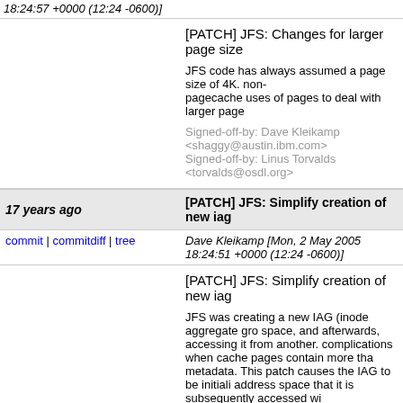18:24:57 +0000 (12:24 -0600)]
[PATCH] JFS: Changes for larger page size
JFS code has always assumed a page size of 4K. non-pagecache uses of pages to deal with larger page
Signed-off-by: Dave Kleikamp <shaggy@austin.ibm.com> Signed-off-by: Linus Torvalds <torvalds@osdl.org>
17 years ago   [PATCH] JFS: Simplify creation of new iag
commit | commitdiff | tree   Dave Kleikamp [Mon, 2 May 2005 18:24:51 +0000 (12:24 -0600)]
[PATCH] JFS: Simplify creation of new iag
JFS was creating a new IAG (inode aggregate gro space, and afterwards, accessing it from another. complications when cache pages contain more tha metadata. This patch causes the IAG to be initiali address space that it is subsequently accessed wi
This also elimitates an I/O, but IAG's aren't create
Signed-off-by: Dave Kleikamp <shaggy@austin.ibm.com>